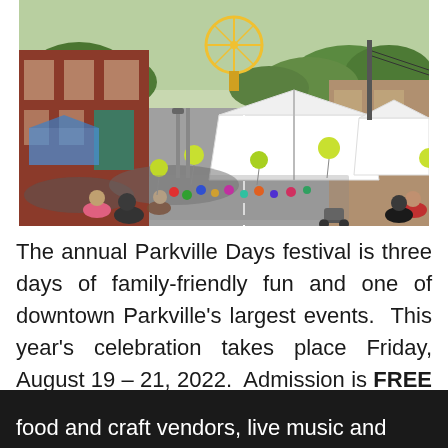[Figure (photo): Aerial/elevated view of a crowded street festival in downtown Parkville. Crowds of people fill the street, white vendor tents are visible, yellow-green balloons are floating, a Ferris wheel and rides visible in the background, brick buildings lining the street, trees in the far background.]
The annual Parkville Days festival is three days of family-friendly fun and one of downtown Parkville's largest events.  This year's celebration takes place Friday, August 19 – 21, 2022.  Admission is FREE for this family-friendly event.  Come enjoy food and craft vendors, live music and